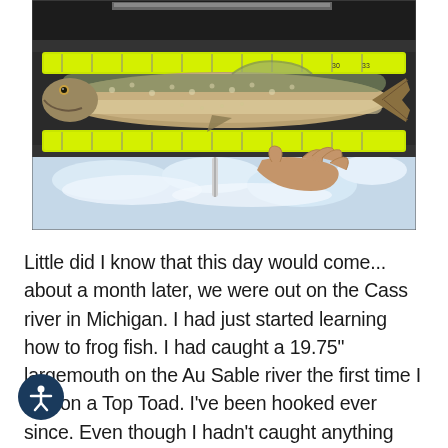[Figure (photo): A large pike fish laid on a yellow measuring board/ruler inside a boat livewell with ice and water. A person's hand is visible at the lower right holding the measuring board. The fish is silver-green with spots, and the measuring ruler is neon yellow-green.]
Little did I know that this day would come... about a month later, we were out on the Cass river in Michigan. I had just started learning how to frog fish. I had caught a 19.75" largemouth on the Au Sable river the first time I tied on a Top Toad. I've been hooked ever since. Even though I hadn't caught anything else on it, but I had plenty of blow ups. I took my Top Toad pole with